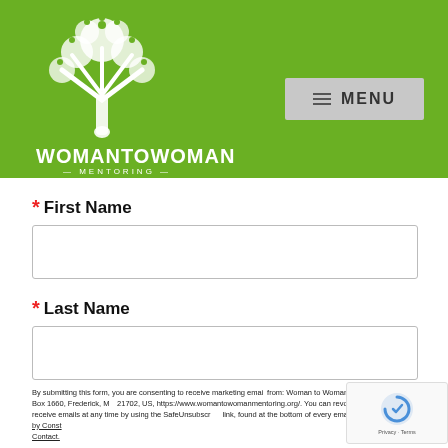[Figure (logo): Woman to Woman Mentoring logo: white tree with flowers on green background, with text 'WOMAN to WOMAN MENTORING' below]
MENU
* First Name
* Last Name
By submitting this form, you are consenting to receive marketing emails from: Woman to Woman Mentoring, Inc., P.O. Box 1660, Frederick, M... 21702, US, https://www.womantowomanmentoring.org/. You can revo... your consent to receive emails at any time by using the SafeUnsubscr... link, found at the bottom of every email. Emails are serviced by Const... Contact.